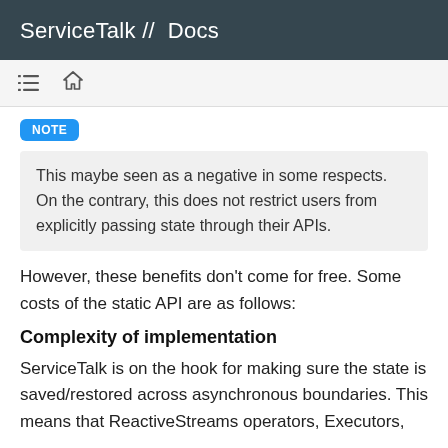ServiceTalk // Docs
This maybe seen as a negative in some respects. On the contrary, this does not restrict users from explicitly passing state through their APIs.
However, these benefits don't come for free. Some costs of the static API are as follows:
Complexity of implementation
ServiceTalk is on the hook for making sure the state is saved/restored across asynchronous boundaries. This means that ReactiveStreams operators, Executors,